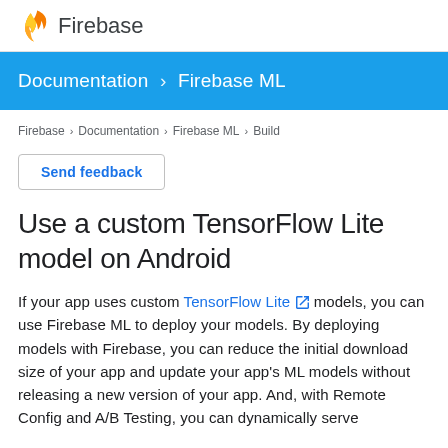[Figure (logo): Firebase flame logo icon (orange/yellow flame) followed by the word 'Firebase' in gray text]
Documentation > Firebase ML
Firebase > Documentation > Firebase ML > Build
Send feedback
Use a custom TensorFlow Lite model on Android
If your app uses custom TensorFlow Lite models, you can use Firebase ML to deploy your models. By deploying models with Firebase, you can reduce the initial download size of your app and update your app's ML models without releasing a new version of your app. And, with Remote Config and A/B Testing, you can dynamically serve